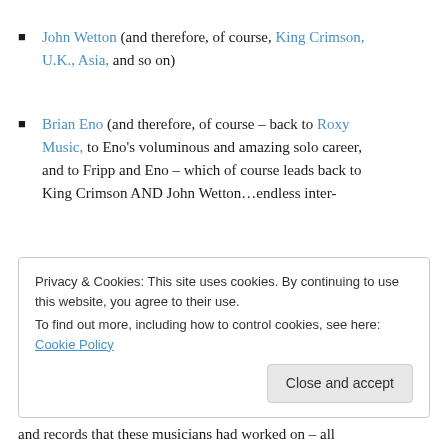John Wetton (and therefore, of course, King Crimson, U.K., Asia, and so on)
Brian Eno (and therefore, of course – back to Roxy Music, to Eno's voluminous and amazing solo career, and to Fripp and Eno – which of course leads back to King Crimson AND John Wetton…endless inter-
Privacy & Cookies: This site uses cookies. By continuing to use this website, you agree to their use.
To find out more, including how to control cookies, see here: Cookie Policy
and records that these musicians had worked on – all